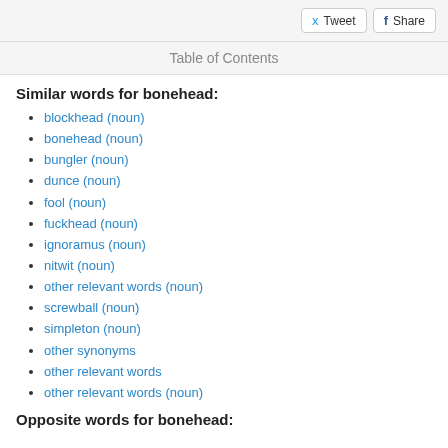Tweet  Share
Table of Contents
Similar words for bonehead:
blockhead (noun)
bonehead (noun)
bungler (noun)
dunce (noun)
fool (noun)
fuckhead (noun)
ignoramus (noun)
nitwit (noun)
other relevant words (noun)
screwball (noun)
simpleton (noun)
other synonyms
other relevant words
other relevant words (noun)
Opposite words for bonehead: